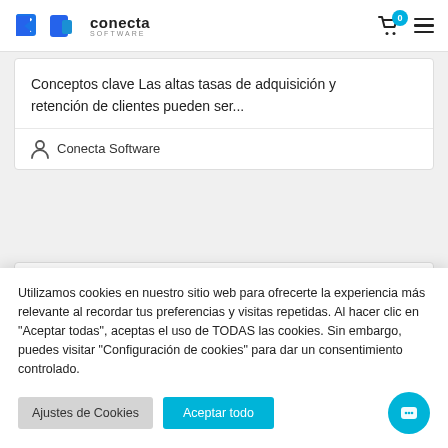conecta SOFTWARE
Conceptos clave Las altas tasas de adquisición y retención de clientes pueden ser...
Conecta Software
Utilizamos cookies en nuestro sitio web para ofrecerte la experiencia más relevante al recordar tus preferencias y visitas repetidas. Al hacer clic en "Aceptar todas", aceptas el uso de TODAS las cookies. Sin embargo, puedes visitar "Configuración de cookies" para dar un consentimiento controlado.